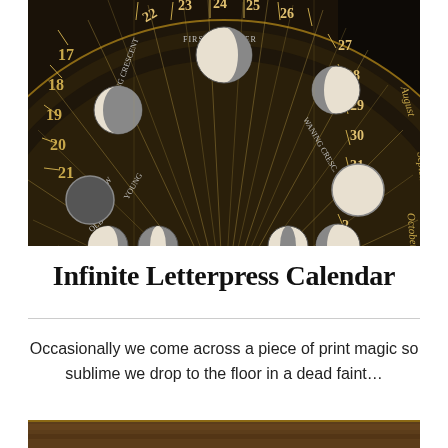[Figure (photo): A circular letterpress calendar wheel with moon phases, months (August, September, October visible), and dates (17-31, 1-3) arranged in concentric rings on a dark background with gold/tan accents. Center has a globe design.]
Infinite Letterpress Calendar
Occasionally we come across a piece of print magic so sublime we drop to the floor in a dead faint…
[Figure (photo): Partial view of a wooden surface/shelf, bottom portion of image.]